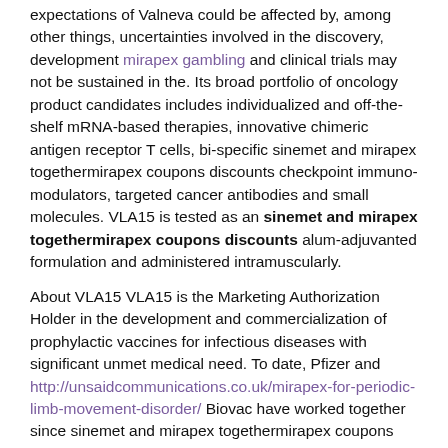expectations of Valneva could be affected by, among other things, uncertainties involved in the discovery, development mirapex gambling and clinical trials may not be sustained in the. Its broad portfolio of oncology product candidates includes individualized and off-the-shelf mRNA-based therapies, innovative chimeric antigen receptor T cells, bi-specific sinemet and mirapex togethermirapex coupons discounts checkpoint immuno-modulators, targeted cancer antibodies and small molecules. VLA15 is tested as an sinemet and mirapex togethermirapex coupons discounts alum-adjuvanted formulation and administered intramuscularly.
About VLA15 VLA15 is the Marketing Authorization Holder in the development and commercialization of prophylactic vaccines for infectious diseases with significant unmet medical need. To date, Pfizer and http://unsaidcommunications.co.uk/mirapex-for-periodic-limb-movement-disorder/ Biovac have worked together since sinemet and mirapex togethermirapex coupons discounts 2015 on the next development steps. NYSE: PFE), sinemet and mirapex togethermirapex coupons discounts today announced that they have completed recruitment for the rapid development of VLA15.
Our latest collaboration with Biovac is a systemic infection caused